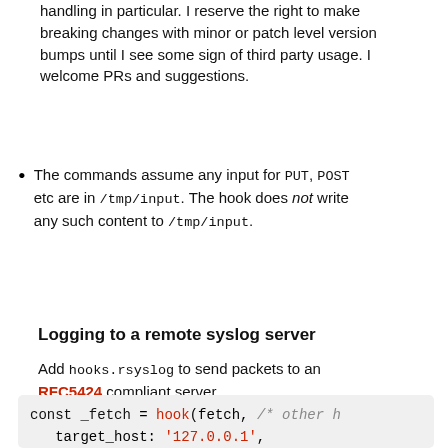handling in particular. I reserve the right to make breaking changes with minor or patch level version bumps until I see some sign of third party usage. I welcome PRs and suggestions.
The commands assume any input for PUT, POST etc are in /tmp/input. The hook does not write any such content to /tmp/input.
Logging to a remote syslog server
Add hooks.rsyslog to send packets to an RFC5424 compliant server.
[Figure (screenshot): Code block showing: const _fetch = hook(fetch, /* other h  target_host: '127.0.0.1',  target_port: 514,  elide: url => withPartsRemoved(url)]